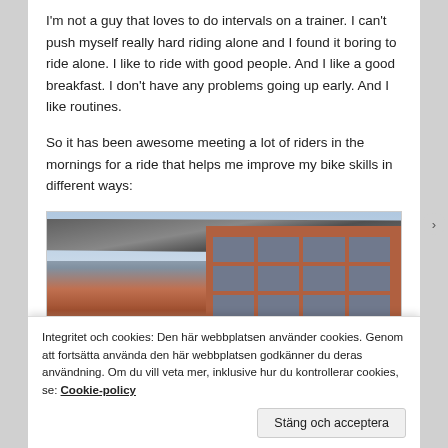I'm not a guy that loves to do intervals on a trainer. I can't push myself really hard riding alone and I found it boring to ride alone. I like to ride with good people. And I like a good breakfast. I don't have any problems going up early. And I like routines.
So it has been awesome meeting a lot of riders in the mornings for a ride that helps me improve my bike skills in different ways:
[Figure (photo): Outdoor cafe or plaza area with large awnings/canopies overhead and a red brick building in the background]
Integritet och cookies: Den här webbplatsen använder cookies. Genom att fortsätta använda den här webbplatsen godkänner du deras användning. Om du vill veta mer, inklusive hur du kontrollerar cookies, se: Cookie-policy
Stäng och acceptera